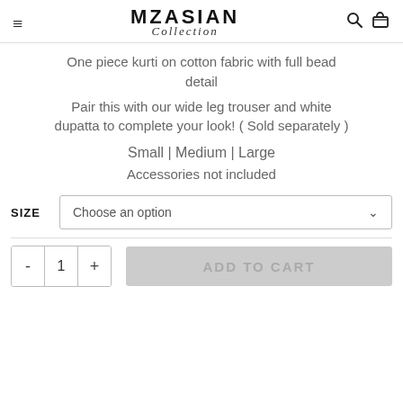MZ ASIAN Collection
One piece kurti on cotton fabric with full bead detail
Pair this with our wide leg trouser and white dupatta to complete your look! ( Sold separately )
Small | Medium | Large
Accessories not included
SIZE  Choose an option
- 1 +   ADD TO CART